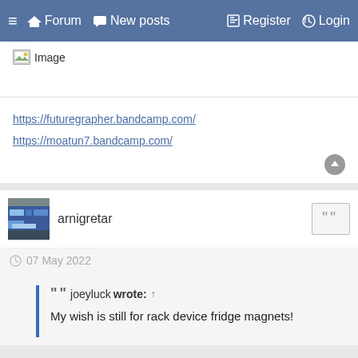≡ 🏠 Forum 💬 New posts ✎ Register ⏻ Login
[Figure (photo): Broken image placeholder labeled 'Image']
https://futuregrapher.bandcamp.com/
https://moatun7.bandcamp.com/
arnigretar
07 May 2022
joeyluck wrote: ↑
My wish is still for rack device fridge magnets!